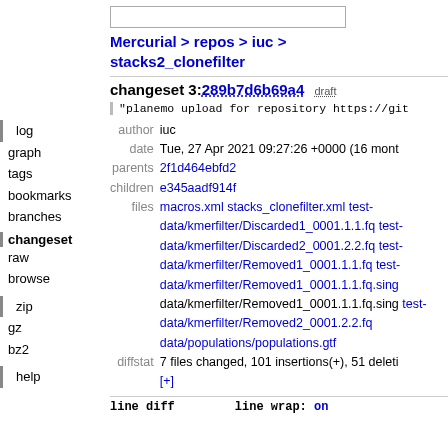Mercurial > repos > iuc > stacks2_clonefilter
changeset 3:289b7d6b69a4  draft
"planemo upload for repository https://git
| label | value |
| --- | --- |
| author | iuc |
| date | Tue, 27 Apr 2021 09:27:26 +0000 (16 mont |
| parents | 2f1d464ebfd2 |
| children | e345aadf914f |
| files | macros.xml stacks_clonefilter.xml test-data/kmerfilter/Discarded1_0001.1.1.fq test-data/kmerfilter/Discarded2_0001.2.2.fq test-data/kmerfilter/Removed1_0001.1.1.fq test-data/kmerfilter/Removed1_0001.1.1.fq.sing data/kmerfilter/Removed1_0001.1.1.fq.sing test-data/kmerfilter/Removed2_0001.2.2.fq data/populations/populations.gtf |
| diffstat | 7 files changed, 101 insertions(+), 51 deleti [+] |
line diff    line wrap: on
log
graph
tags
bookmarks
branches
changeset
raw
browse
zip
gz
bz2
help